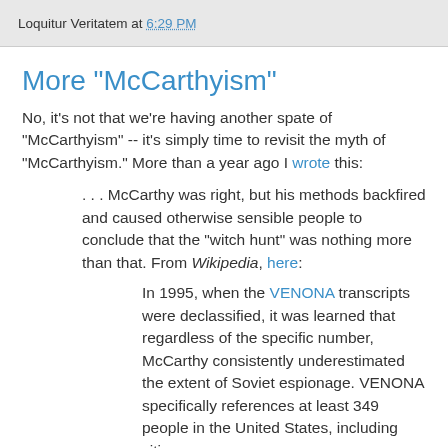Loquitur Veritatem at 6:29 PM
More "McCarthyism"
No, it's not that we're having another spate of "McCarthyism" -- it's simply time to revisit the myth of "McCarthyism." More than a year ago I wrote this:
. . . McCarthy was right, but his methods backfired and caused otherwise sensible people to conclude that the "witch hunt" was nothing more than that. From Wikipedia, here:
In 1995, when the VENONA transcripts were declassified, it was learned that regardless of the specific number, McCarthy consistently underestimated the extent of Soviet espionage. VENONA specifically references at least 349 people in the United States, including citizens,